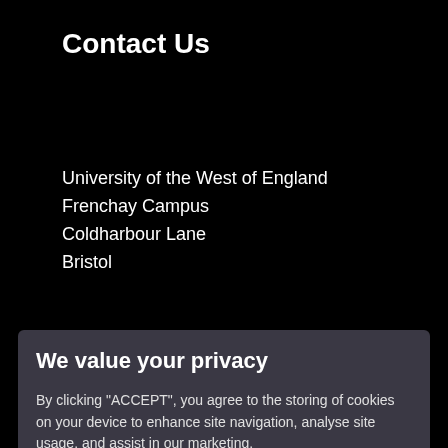Contact Us
University of the West of England
Frenchay Campus
Coldharbour Lane
Bristol
We value your privacy
By clicking "ACCEPT", you agree to the storing of cookies on your device to enhance site navigation, analyse site usage, and assist in our marketing.
ACCEPT
VIEW COOKIE SETTINGS